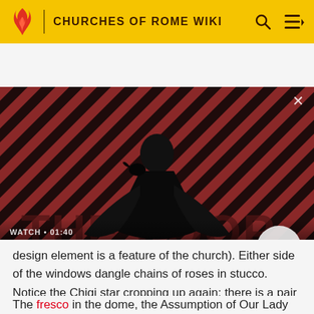CHURCHES OF ROME WIKI
[Figure (screenshot): Video thumbnail showing a dark-cloaked figure with a raven on the shoulder against a red and black diagonal stripe background. Text overlay: WATCH • 01:40 / The Sandman Will Keep You Awake - The Loop. Play button on right.]
design element is a feature of the church). Either side of the windows dangle chains of roses in stucco. Notice the Chigi star cropping up again; there is a pair of them over each triangular pediment.
The fresco in the dome, the Assumption of Our Lady Into